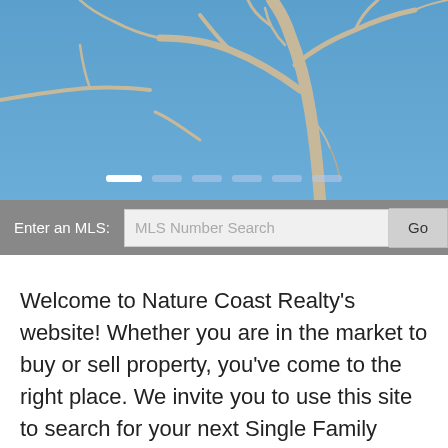[Figure (photo): Bare tree branches against a blue sky, hero banner image with carousel navigation dots at the bottom]
Enter an MLS:
MLS Number Search
Go
Welcome to Nature Coast Realty's website! Whether you are in the market to buy or sell property, you've come to the right place. We invite you to use this site to search for your next Single Family Home, Condominium, Townhouse, Land, or Commercial real estate purchase. We are here to make YOUR dream become reality.